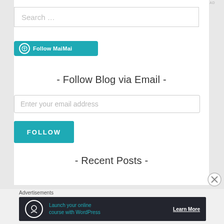REPORT THIS AD
Search …
[Figure (other): Follow MaiMai button with WordPress icon]
- Follow Blog via Email -
Enter your email address
FOLLOW
- Recent Posts -
Advertisements
[Figure (other): Advertisement banner: Launch your online course with WordPress, Learn More]